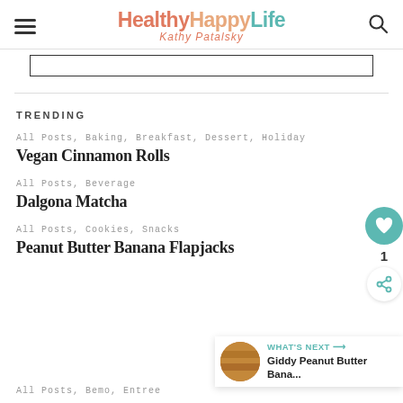HealthyHappyLife — Kathy Patalsky
TRENDING
All Posts, Baking, Breakfast, Dessert, Holiday
Vegan Cinnamon Rolls
All Posts, Beverage
Dalgona Matcha
All Posts, Cookies, Snacks
Peanut Butter Banana Flapjacks
All Posts, Bemo, Entree
[Figure (other): WHAT'S NEXT panel with thumbnail and text: Giddy Peanut Butter Bana...]